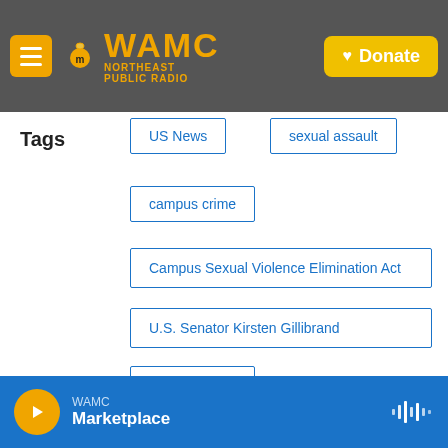[Figure (screenshot): WAMC Northeast Public Radio website header with menu button, logo, and donate button]
Tags
US News
sexual assault
campus crime
Campus Sexual Violence Elimination Act
U.S. Senator Kirsten Gillibrand
Suzanne Lyall
[Figure (infographic): Social sharing buttons: Facebook, Twitter, LinkedIn]
WAMC Marketplace (audio player bar)